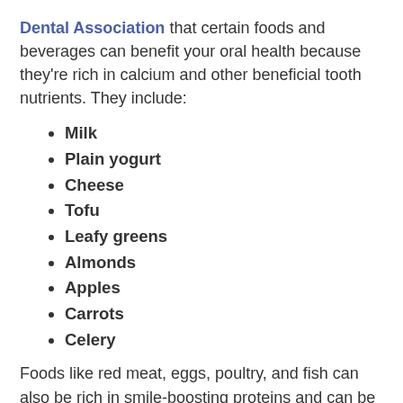Dental Association that certain foods and beverages can benefit your oral health because they're rich in calcium and other beneficial tooth nutrients. They include:
Milk
Plain yogurt
Cheese
Tofu
Leafy greens
Almonds
Apples
Carrots
Celery
Foods like red meat, eggs, poultry, and fish can also be rich in smile-boosting proteins and can be part of a healthy diet (unless of course you choose to stick to a strictly vegetarian or vegan diet). Just remember that